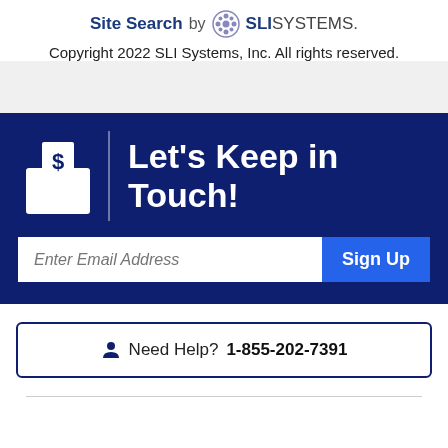[Figure (logo): Site Search by SLI Systems logo with stylized SLI snowflake/gear icon]
Copyright 2022 SLI Systems, Inc. All rights reserved.
[Figure (infographic): Dark blue banner with envelope/dollar sign icon, vertical divider, and text 'Let's Keep in Touch!']
Enter Email Address [input field] Sign Up [button]
Need Help? 1-855-202-7391